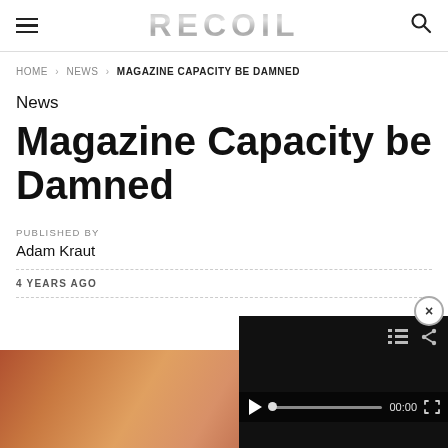RECOIL
HOME > NEWS > MAGAZINE CAPACITY BE DAMNED
News
Magazine Capacity be Damned
PUBLISHED BY
Adam Kraut
4 YEARS AGO
[Figure (photo): Partial view of a warm-toned textured background (copper/orange hue) and a video player overlay panel with play button, progress bar at 00:00, and fullscreen controls on black background]